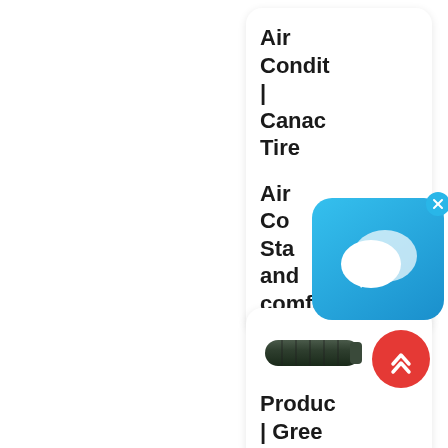Air Condit | Canac Tire
Air Co Sta and comfo
[Figure (screenshot): Chat/messaging app icon overlay with blue gradient background and speech bubble icons, with a close (x) button in the top right corner]
[Figure (photo): Dark green/black cylindrical hose or pipe product image]
[Figure (other): Red circular scroll-to-top button with double chevron up arrow]
Produc | Gree